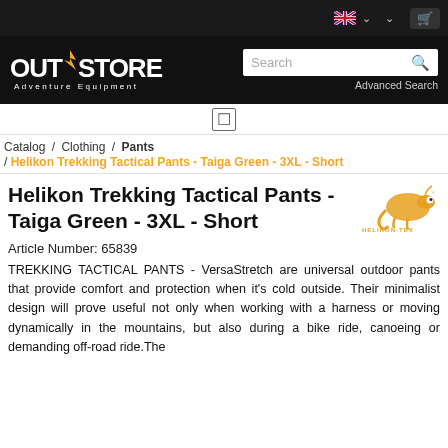OUTSTORE Adventure Equipment
Catalog / Clothing / Pants / Helikon Trekking Tactical Pants - Taiga Green - 3XL - Short
Helikon Trekking Tactical Pants - Taiga Green - 3XL - Short
Article Number: 65839
TREKKING TACTICAL PANTS - VersaStretch are universal outdoor pants that provide comfort and protection when it's cold outside. Their minimalist design will prove useful not only when working with a harness or moving dynamically in the mountains, but also during a bike ride, canoeing or demanding off-road ride.The